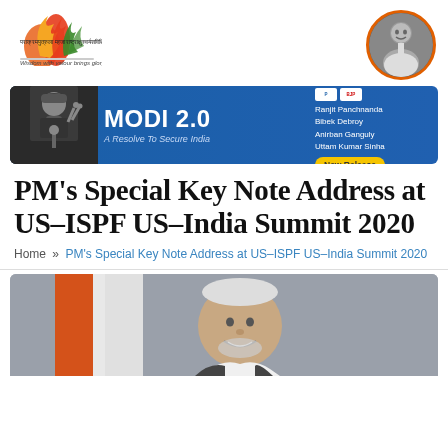[Figure (logo): Colorful flame/torch logo with Hindi text and English tagline 'Wisdom with valour brings glory to the nation']
[Figure (photo): Circular profile photo of a man in black and white, with orange border]
[Figure (infographic): Banner advertisement for book MODI 2.0 - A Resolve To Secure India, with editors Ranjit Panchnanda, Bibek Debroy, Anirban Ganguly, Uttam Kumar Sinha. New Release button.]
PM's Special Key Note Address at US–ISPF US–India Summit 2020
Home » PM's Special Key Note Address at US–ISPF US–India Summit 2020
[Figure (photo): Photo of Prime Minister Narendra Modi smiling, with Indian flag in the background]